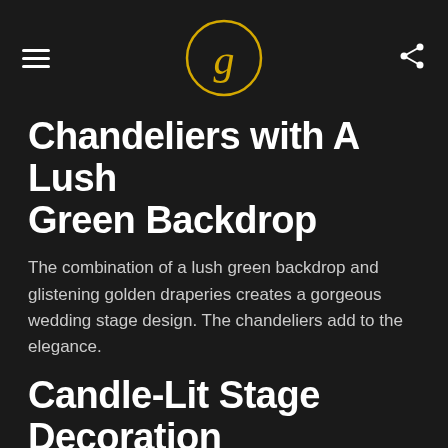Chandeliers with A Lush Green Backdrop
The combination of a lush green backdrop and glistening golden draperies creates a gorgeous wedding stage design. The chandeliers add to the elegance.
Candle-Lit Stage Decoration
When you dim the lights and light a few candles, everything seems to become more romantic. No, we're not referring to a romantic vacation meal for two, but rather the décor for your